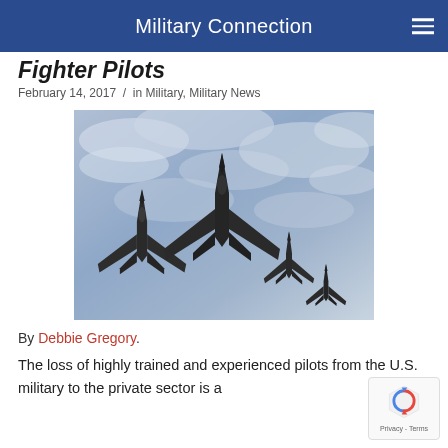Military Connection
Fighter Pilots
February 14, 2017 / in Military, Military News
[Figure (photo): Four fighter jets flying in formation against a cloudy blue-grey sky, viewed from below. The silhouettes show two large jets on the left and two smaller jets on the right.]
By Debbie Gregory.
The loss of highly trained and experienced pilots from the U.S. military to the private sector is a